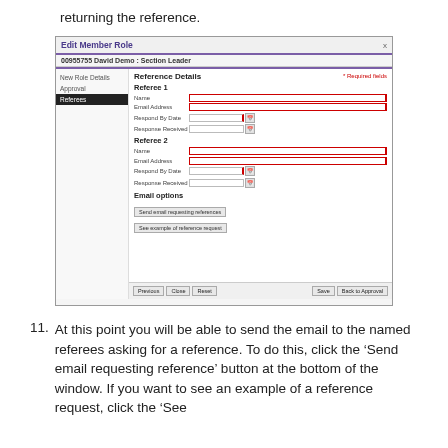returning the reference.
[Figure (screenshot): Edit Member Role dialog box showing the Referees tab with fields for Referee 1 and Referee 2 (Name, Email Address, Respond By Date, Response Received), Email options section with 'Send email requesting references' and 'See example of reference request' buttons, and footer with Previous, Close, Reset, Save, Back to Approval buttons.]
At this point you will be able to send the email to the named referees asking for a reference. To do this, click the 'Send email requesting reference' button at the bottom of the window. If you want to see an example of a reference request, click the 'See